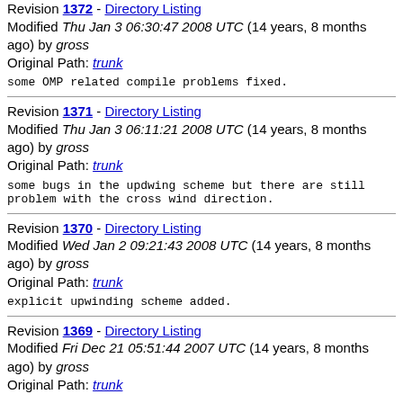Revision 1372 - Directory Listing
Modified Thu Jan 3 06:30:47 2008 UTC (14 years, 8 months ago) by gross
Original Path: trunk
some OMP related compile problems fixed.
Revision 1371 - Directory Listing
Modified Thu Jan 3 06:11:21 2008 UTC (14 years, 8 months ago) by gross
Original Path: trunk
some bugs in the updwing scheme but there are still problem with the cross wind direction.
Revision 1370 - Directory Listing
Modified Wed Jan 2 09:21:43 2008 UTC (14 years, 8 months ago) by gross
Original Path: trunk
explicit upwinding scheme added.
Revision 1369 - Directory Listing
Modified Fri Dec 21 05:51:44 2007 UTC (14 years, 8 months ago) by gross
Original Path: trunk